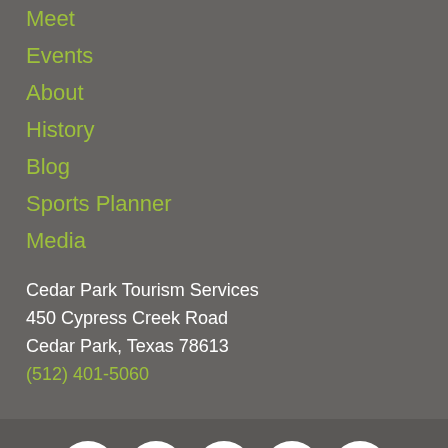Meet
Events
About
History
Blog
Sports Planner
Media
Cedar Park Tourism Services
450 Cypress Creek Road
Cedar Park, Texas 78613
(512) 401-5060
[Figure (other): Social media icons: Facebook, Twitter, YouTube, Instagram, TripAdvisor]